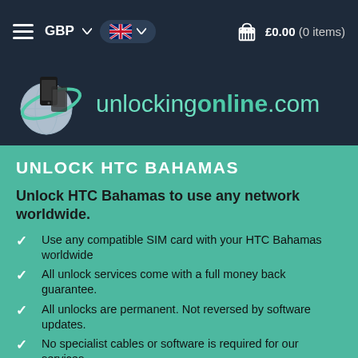GBP  [UK flag]  £0.00 (0 items)
[Figure (logo): unlockingonline.com logo with globe and phones icon]
UNLOCK HTC BAHAMAS
Unlock HTC Bahamas to use any network worldwide.
Use any compatible SIM card with your HTC Bahamas worldwide
All unlock services come with a full money back guarantee.
All unlocks are permanent. Not reversed by software updates.
No specialist cables or software is required for our services.
Clear, concise guidance & unlock instructions throughout.